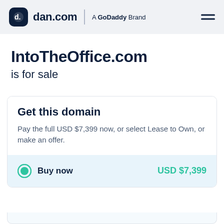dan.com | A GoDaddy Brand
IntoTheOffice.com is for sale
Get this domain
Pay the full USD $7,399 now, or select Lease to Own, or make an offer.
Buy now  USD $7,399